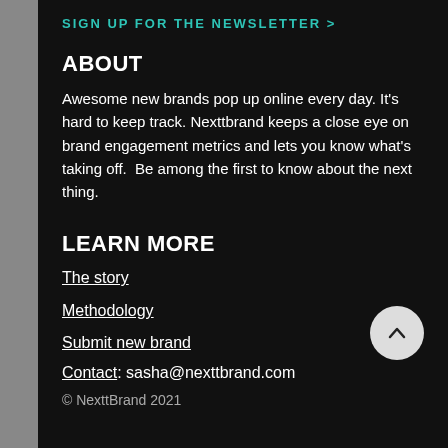SIGN UP FOR THE NEWSLETTER >
ABOUT
Awesome new brands pop up online every day. It's hard to keep track. Nexttbrand keeps a close eye on brand engagement metrics and lets you know what's taking off.  Be among the first to know about the next thing.
LEARN MORE
The story
Methodology
Submit new brand
Contact: sasha@nexttbrand.com
© NexttBrand 2021